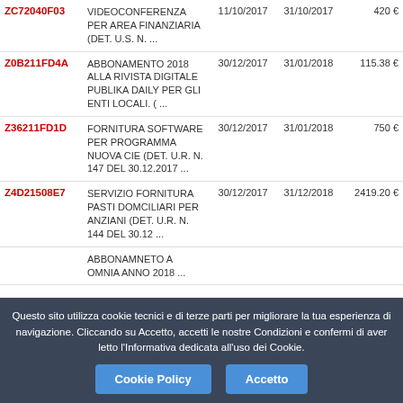| ID | Descrizione | Data inizio | Data fine | Importo |
| --- | --- | --- | --- | --- |
| ZC72040F03 | VIDEOCONFERENZA PER AREA FINANZIARIA (DET. U.S. N. ... | 11/10/2017 | 31/10/2017 | 420 € |
| Z0B211FD4A | ABBONAMENTO 2018 ALLA RIVISTA DIGITALE PUBLIKA DAILY PER GLI ENTI LOCALI. ( ... | 30/12/2017 | 31/01/2018 | 115.38 € |
| Z36211FD1D | FORNITURA SOFTWARE PER PROGRAMMA NUOVA CIE (DET. U.R. N. 147 DEL 30.12.2017 ... | 30/12/2017 | 31/01/2018 | 750 € |
| Z4D21508E7 | SERVIZIO FORNITURA PASTI DOMCILIARI PER ANZIANI (DET. U.R. N. 144 DEL 30.12 ... | 30/12/2017 | 31/12/2018 | 2419.20 € |
|  | ABBONAMNETO A OMNIA ANNO 2018 ... |  |  |  |
Questo sito utilizza cookie tecnici e di terze parti per migliorare la tua esperienza di navigazione. Cliccando su Accetto, accetti le nostre Condizioni e confermi di aver letto l'Informativa dedicata all'uso dei Cookie.